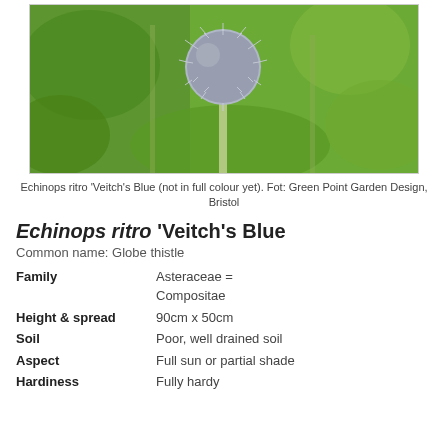[Figure (photo): Globe thistle (Echinops ritro 'Veitch's Blue') flower with spiky spherical blue-grey head on a pale green stem, with green foliage in background]
Echinops ritro 'Veitch's Blue (not in full colour yet). Fot: Green Point Garden Design, Bristol
Echinops ritro 'Veitch's Blue
Common name: Globe thistle
| Family | Asteraceae = Compositae |
| Height & spread | 90cm x 50cm |
| Soil | Poor, well drained soil |
| Aspect | Full sun or partial shade |
| Hardiness | Fully hardy |